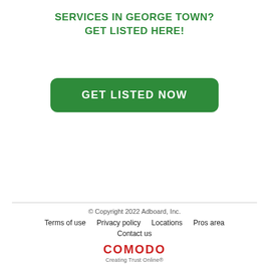SERVICES IN GEORGE TOWN?
GET LISTED HERE!
[Figure (other): Green rounded button with white bold uppercase text reading GET LISTED NOW]
© Copyright 2022 Adboard, Inc.
Terms of use   Privacy policy   Locations   Pros area
Contact us
COMODO Creating Trust Online®